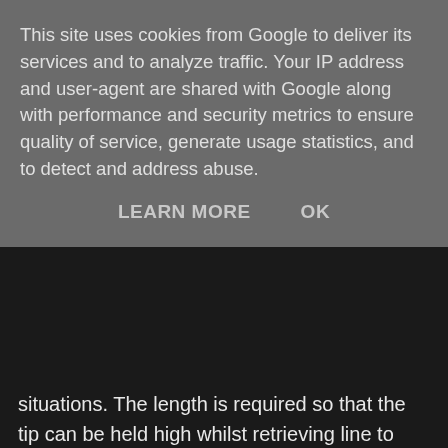This site uses cookies from Google to deliver its services and to analyze traffic. Your IP address and user-agent are shared with Google along with performance and security metrics to ensure quality of service, generate usage statistics, and to detect and address abuse.
LEARN MORE   OK
situations.  The length is required so that the tip can be held high whilst retrieving line to keep the tackle clear of the bottom, and the power so the tackle can be pulled free of any minor snags.  You should look for something of at least 13ft with quite a stiff tip action.  As long casting isn't necessary, (or possible with limited room), the need for a shock leader is diminished.  Instead, a stronger mainline of around 30lb breaking strain can be used right through from the reel to the lead weight.  The lack of a shock leader is also helpful because there is no chance of weed getting snagged on the knot, getting jammed in the rod rings and slowing down the retrieve.  For this sort of fishing I would recommend a powerful multiplier with a fast retrieve and strong gears.  Again, a good drag system is essential.  Some of the multipliers designed for light boat fishing are